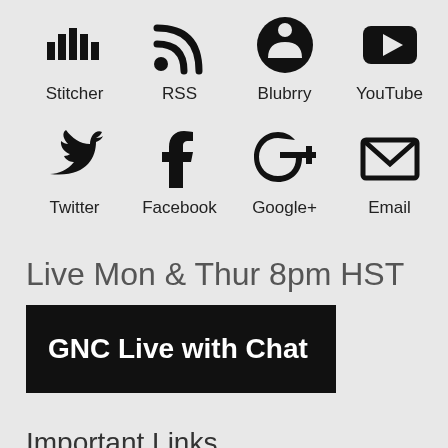[Figure (infographic): Row of podcast/media platform icons: Stitcher, RSS, Blubrry, YouTube with labels below each]
[Figure (infographic): Row of social media icons: Twitter, Facebook, Google+, Email with labels below each]
Live Mon & Thur 8pm HST
[Figure (other): Black banner button reading GNC Live with Chat]
Important Links
Newsletter
Offers
Show Advertising